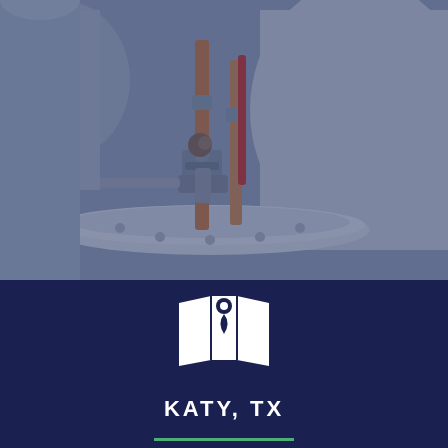[Figure (photo): Close-up photograph of industrial water heater plumbing connections — copper and metal pipes, valves, fittings on top of a cylindrical water heater tank, with a blue-tinted overlay]
[Figure (illustration): White map location pin icon overlaid on a folded map icon, on dark navy background]
KATY, TX